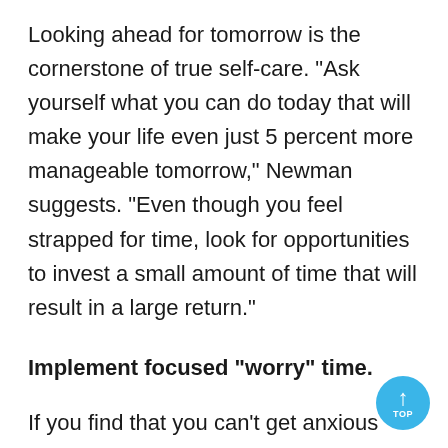Looking ahead for tomorrow is the cornerstone of true self-care. "Ask yourself what you can do today that will make your life even just 5 percent more manageable tomorrow," Newman suggests. "Even though you feel strapped for time, look for opportunities to invest a small amount of time that will result in a large return."
Implement focused "worry" time.
If you find that you can't get anxious thoughts out of your head, Deane suggests adding some focused "worry time" to your day. "Consider this a period of time in which you are giving yourself